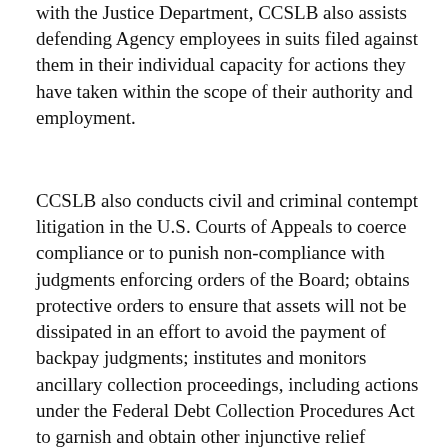with the Justice Department, CCSLB also assists defending Agency employees in suits filed against them in their individual capacity for actions they have taken within the scope of their authority and employment.
CCSLB also conducts civil and criminal contempt litigation in the U.S. Courts of Appeals to coerce compliance or to punish non-compliance with judgments enforcing orders of the Board; obtains protective orders to ensure that assets will not be dissipated in an effort to avoid the payment of backpay judgments; institutes and monitors ancillary collection proceedings, including actions under the Federal Debt Collection Procedures Act to garnish and obtain other injunctive relief pendente lite. CCSLB also provides investigative assistance to the Regions related to obtaining compliance with Board and court orders, including investigating entities and/or individuals that may be derivatively liable under the Act.